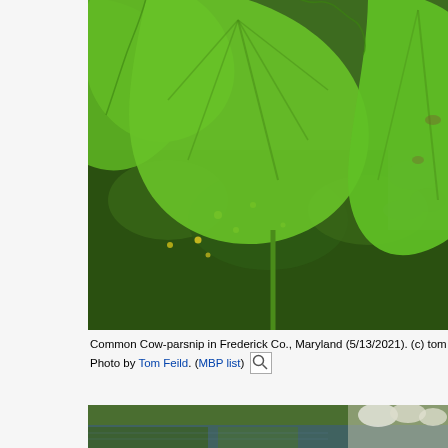[Figure (photo): Close-up photo of Common Cow-parsnip leaves in Frederick Co., Maryland (5/13/2021). Large green lobed leaves with serrated edges fill the frame, with small yellow flowers visible in the background and dark stone/gravel visible on the right side.]
Common Cow-parsnip in Frederick Co., Maryland (5/13/2021). (c) tom Photo by Tom Feild. (MBP list) [search icon]
[Figure (photo): Bottom portion of another photo showing green vegetation reflected in water, with white flowering plants visible.]